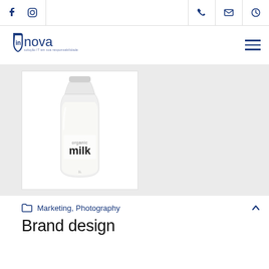Innova - social media icons: Facebook, Instagram, Phone, Email, Clock
[Figure (logo): Innova company logo - blue shield with 'innova' text and tagline]
[Figure (photo): Glass milk bottle with white milk inside, label reads 'organic milk', on white background]
Marketing, Photography
Brand design